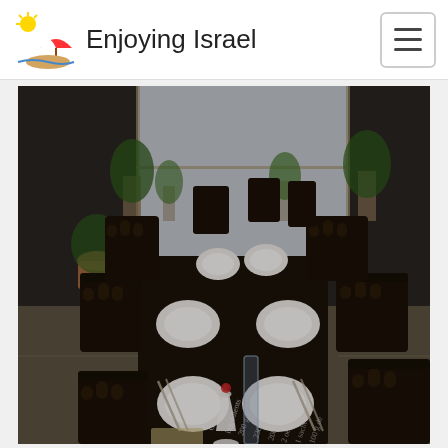Enjoying Israel
[Figure (photo): Interior of a restaurant dining room with a long dark table set for multiple guests. Black chairs with circular cutouts line both sides of the table. White plates, cutlery, and glassware are arranged at each place setting. A white vase with a red flower and a tall glass vase are on the table. The dark tablecloth has white handwritten-style text with French words (Délices, Préparation, Cuisson, ingrédients, 200g de, 250g de, 200g de, 2 oeufs, 1 sachet de, 100g de, etc.). Potted green plants are visible in the background near a large window letting in natural light.]